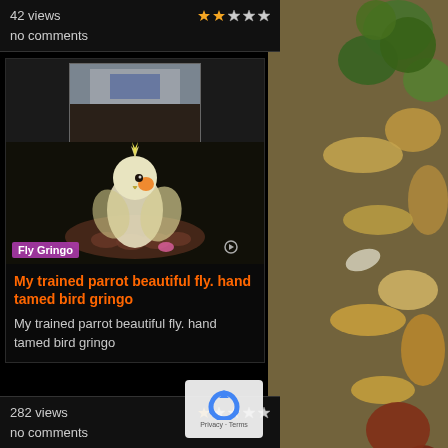42 views
no comments
[Figure (screenshot): Video thumbnail of a cockatiel bird (Fly Gringo) on a hand, with a smaller inset image at the top]
My trained parrot beautiful fly. hand tamed bird gringo
My trained parrot beautiful fly. hand tamed bird gringo
282 views
no comments
[Figure (photo): Close-up photo of mixed seeds and nuts including green walnuts, almonds, peanuts, and other seeds]